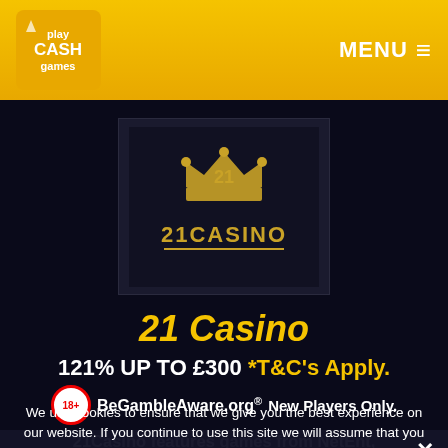Play Cash Games - MENU
[Figure (logo): 21Casino logo with crown icon in dark background box]
21 Casino
121% UP TO £300 *T&C's Apply.
18+ BeGambleAware.org New Players Only.
21Casino features games from NetEnt, Microgaming and Betsoft. Table games, live casino and jackpot slots. (T&Cs apply, 18+, please gamble responsibly)
21 Casino is one of White Hat Gaming's more stylish online casinos. Founded in 2015, White Hat and the team of industry experts used years of online casino expertise to create a modern online
We use cookies to ensure that we give you the best experience on our website. If you continue to use this site we will assume that you are happy with it.
Ok    Privacy policy